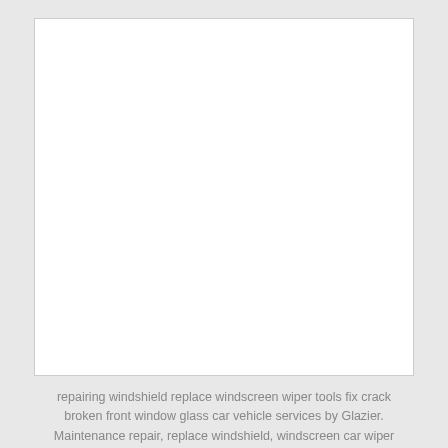[Figure (photo): A large blank white rectangle representing a placeholder for an image, with a light gray border, set against a light gray background.]
repairing windshield replace windscreen wiper tools fix crack broken front window glass car vehicle services by Glazier. Maintenance repair, replace windshield, windscreen car wiper concept.